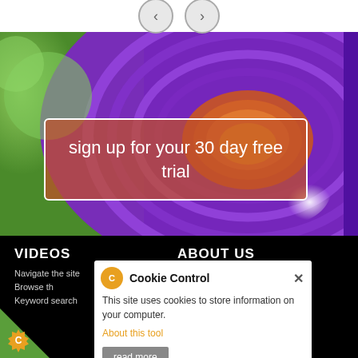[Figure (screenshot): Navigation arrows (left and right) in circular buttons on white bar]
[Figure (photo): Hero image of rolled purple yoga mats with green background and orange/terracotta rolled mat center]
sign up for your 30 day free trial
VIDEOS
Navigate the site
Browse the
Keyword search
ABOUT US
About the online
What is Dru Yoga
About this tool
Meet the team
Testimonials
[Figure (screenshot): Cookie Control popup dialog with orange gear icon, title 'Cookie Control', close X button, body text 'This site uses cookies to store information on your computer.', 'About this tool' link in orange, and 'read more' grey button]